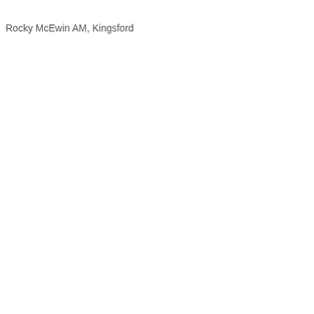Rocky McEwin AM, Kingsford
[Figure (screenshot): Partial food/meal card showing calorie strip: 1814kj | 435cal with green apple icon and orange button]
[Figure (screenshot): Meal card with food image placeholder, side text starting with 'C', lines of text (S, m, p), calorie strip: 1648kj | 395cal, orange button]
[Figure (screenshot): Meal card with food image placeholder, side text starting with 'C', lines of text (T, a, a), calorie strip: 1932kj | 463cal, orange button]
[Figure (screenshot): Partial meal card at bottom, showing only image placeholder line and partial side text starting with 'P']